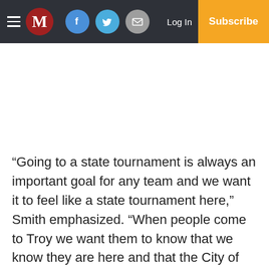M — Navigation bar with hamburger menu, M logo, Facebook, Twitter, Email icons, Log In, Subscribe
“Going to a state tournament is always an important goal for any team and we want it to feel like a state tournament here,” Smith emphasized. “When people come to Troy we want them to know that we know they are here and that the City of Troy knows they